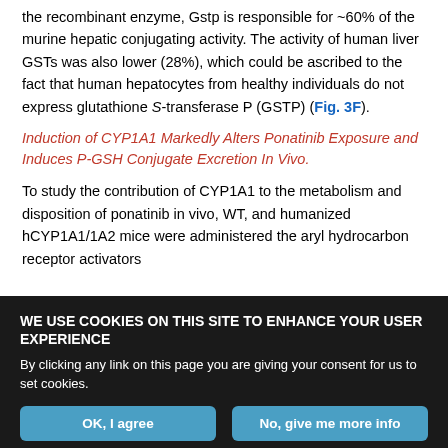the recombinant enzyme, Gstp is responsible for ~60% of the murine hepatic conjugating activity. The activity of human liver GSTs was also lower (28%), which could be ascribed to the fact that human hepatocytes from healthy individuals do not express glutathione S-transferase P (GSTP) (Fig. 3F).
Induction of CYP1A1 Markedly Alters Ponatinib Exposure and Induces P-GSH Conjugate Excretion In Vivo.
To study the contribution of CYP1A1 to the metabolism and disposition of ponatinib in vivo, WT, and humanized hCYP1A1/1A2 mice were administered the aryl hydrocarbon receptor activators
WE USE COOKIES ON THIS SITE TO ENHANCE YOUR USER EXPERIENCE

By clicking any link on this page you are giving your consent for us to set cookies.

OK, I agree   No, give me more info